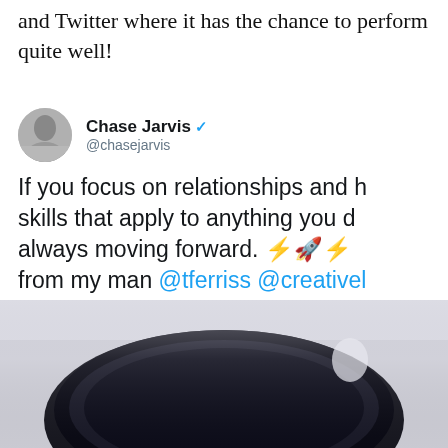and Twitter where it has the chance to perform quite well!
[Figure (screenshot): Tweet from Chase Jarvis (@chasejarvis, verified) with text: If you focus on relationships and [h]skills that apply to anything you d[o] always moving forward. ⚡🚀⚡ from my man @tferriss @creativel[ive] cr8.lv/2NKF3L4]
[Figure (photo): Bottom portion of an image showing a dark bowl or coffee cup, partially cropped, with a light/white background above it]